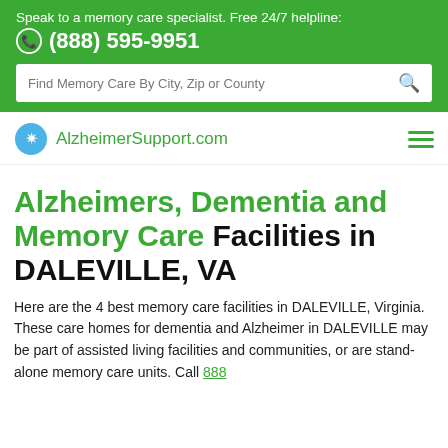Speak to a memory care specialist. Free 24/7 helpline: (888) 595-9951
Find Memory Care By City, Zip or County
[Figure (logo): AlzheimerSupport.com logo with brain icon]
Alzheimers, Dementia and Memory Care Facilities in DALEVILLE, VA
Here are the 4 best memory care facilities in DALEVILLE, Virginia. These care homes for dementia and Alzheimer in DALEVILLE may be part of assisted living facilities and communities, or are stand-alone memory care units. Call 888...